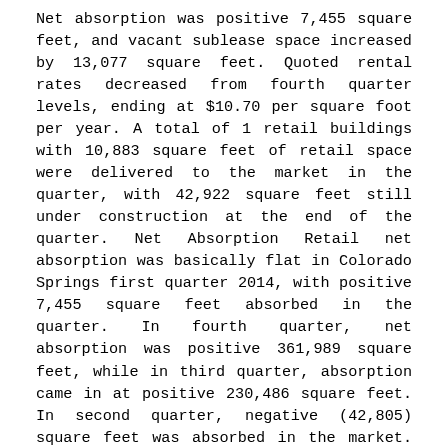Net absorption was positive 7,455 square feet, and vacant sublease space increased by 13,077 square feet. Quoted rental rates decreased from fourth quarter levels, ending at $10.70 per square foot per year. A total of 1 retail buildings with 10,883 square feet of retail space were delivered to the market in the quarter, with 42,922 square feet still under construction at the end of the quarter. Net Absorption Retail net absorption was basically flat in Colorado Springs first quarter 2014, with positive 7,455 square feet absorbed in the quarter. In fourth quarter, net absorption was positive 361,989 square feet, while in third quarter, absorption came in at positive 230,486 square feet. In second quarter, negative (42,805) square feet was absorbed in the market. Colorado Springs s retail vacancy rate changed in the first quarter 2014, ending the quarter at 6.4%. Over the past four quarters, the market has seen an overall decrease in the vacancy rate, with the rate going from 7.2% in the second quarter, to 6.8% at the end of the third quarter, 6.4% at the end of the fourth quarter, to 6.4% in the current quarter. The amount of vacant sublease space in the Colorado Springs market has trended down over the past four quarters. At the end of the second quarter, there were 88,350 square feet of